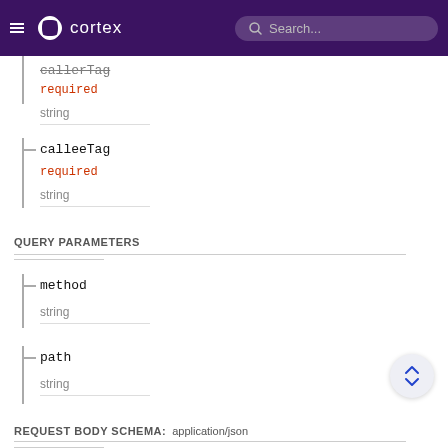cortex — Search
callerTag required string
calleeTag required string
QUERY PARAMETERS
method string
path string
REQUEST BODY SCHEMA: application/json